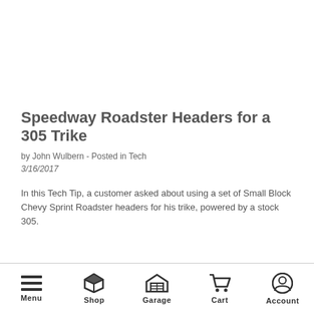Speedway Roadster Headers for a 305 Trike
by John Wulbern - Posted in Tech
3/16/2017
In this Tech Tip, a customer asked about using a set of Small Block Chevy Sprint Roadster headers for his trike, powered by a stock 305.
Menu  Shop  Garage  Cart  Account